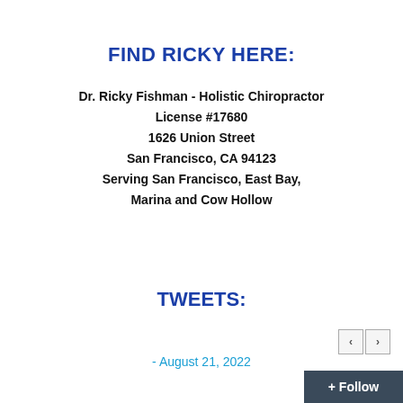FIND RICKY HERE:
Dr. Ricky Fishman - Holistic Chiropractor
License #17680
1626 Union Street
San Francisco, CA 94123
Serving San Francisco, East Bay,
Marina and Cow Hollow
TWEETS:
- August 21, 2022